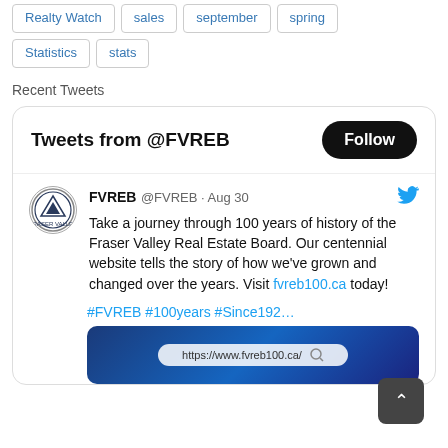Realty Watch
sales
september
spring
Statistics
stats
Recent Tweets
[Figure (screenshot): Embedded Twitter widget showing 'Tweets from @FVREB' with a Follow button, and a tweet from FVREB @FVREB · Aug 30 reading: 'Take a journey through 100 years of history of the Fraser Valley Real Estate Board. Our centennial website tells the story of how we've grown and changed over the years. Visit fvreb100.ca today! #FVREB #100years #Since192...' with a partial image of a browser showing https://www.fvreb100.ca/]